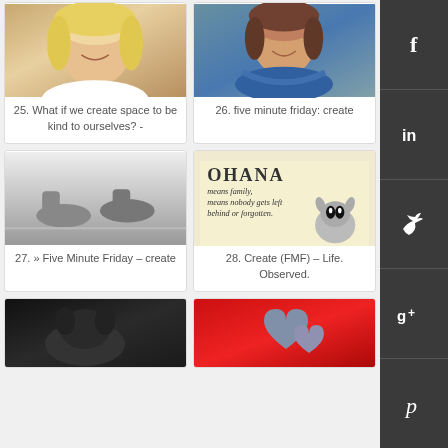[Figure (photo): Blonde woman smiling, selfie in car]
25. What if we create space to be kind to ourselves? -
[Figure (photo): Brunette woman smiling outdoors with blue scarf]
26. five minute friday: create
[Figure (photo): Black and white photo of feet/shoes lying down]
27. » Five Minute Friday – create
[Figure (illustration): OHANA means family, means nobody gets left behind or forgotten. Illustration with Stitch character]
28. Create (FMF) – Life. Observed.
[Figure (photo): Dark photo, dog or person partially visible]
[Figure (photo): Heart-shaped stones on red background]
[Figure (infographic): Social media sidebar with Facebook, LinkedIn, Twitter, Google+, Pinterest icons]